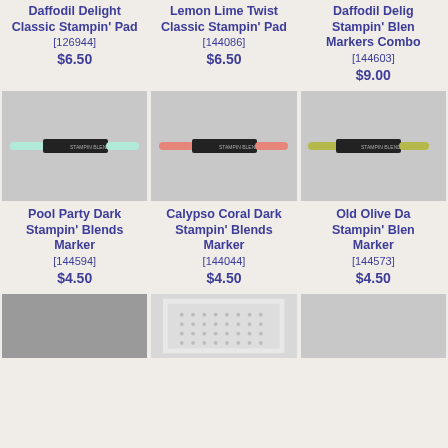Daffodil Delight Classic Stampin' Pad [126944] $6.50
Lemon Lime Twist Classic Stampin' Pad [144086] $6.50
Daffodil Delight Stampin' Blends Markers Combo [144603] $9.00
[Figure (photo): Pool Party Dark Stampin' Blends Marker - a double-ended alcohol ink marker with light mint/aqua colored tips]
[Figure (photo): Calypso Coral Dark Stampin' Blends Marker - a double-ended alcohol ink marker with coral/salmon colored tips]
[Figure (photo): Old Olive Dark Stampin' Blends Marker - a double-ended alcohol ink marker with olive green colored tips]
Pool Party Dark Stampin' Blends Marker [144594] $4.50
Calypso Coral Dark Stampin' Blends Marker [144044] $4.50
Old Olive Dark Stampin' Blends Marker [144573] $4.50
[Figure (photo): Partial bottom product image 1]
[Figure (photo): Partial bottom product image 2 - appears to be stencil/embossing folder]
[Figure (photo): Partial bottom product image 3]